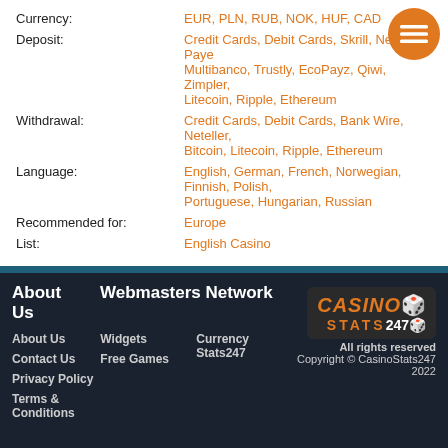| Field | Value |
| --- | --- |
| Currency: | EUR, PLN, RUB, NOK, HUF, CAD |
| Deposit: | Credit Cards, Debit Cards, Skrill, Neteller, PaySafe, Multibanco, Trustly, EcoPayz, Qiwi, Zimpler, Litecoin, Ripple, Ethereum |
| Withdrawal: | Credit Cards, Debit Cards, Bank Wire, Neteller, Bitcoin, Litecoin, Ripple, Ethereum |
| Language: | English, German, French, Norwegian, Finnish, Polish, Portuguese, Hungarian, Russian |
| Recommended for: | Europe |
| List: | English Casino |
Buran Casino Reviews
Please connect if you want to leave a review:
Connect
Buran Casino was reviewed by 0 users and received a - /5 .
See Buran Casino reviews in English
About Us | Webmasters Network | Currency Stats247 | Widgets | Free Games | About Us | Contact Us | Privacy Policy | Terms & Conditions | All rights reserved Copyright © CasinoStats247 2022